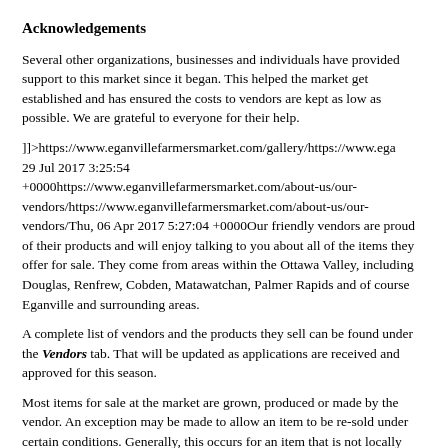Acknowledgements
Several other organizations, businesses and individuals have provided support to this market since it began. This helped the market get established and has ensured the costs to vendors are kept as low as possible. We are grateful to everyone for their help.
]]>https://www.eganvillefarmersmarket.com/gallery/https://www.ega 29 Jul 2017 3:25:54 +0000https://www.eganvillefarmersmarket.com/about-us/our-vendors/https://www.eganvillefarmersmarket.com/about-us/our-vendors/Thu, 06 Apr 2017 5:27:04 +0000Our friendly vendors are proud of their products and will enjoy talking to you about all of the items they offer for sale. They come from areas within the Ottawa Valley, including Douglas, Renfrew, Cobden, Matawatchan, Palmer Rapids and of course Eganville and surrounding areas.
A complete list of vendors and the products they sell can be found under the Vendors tab. That will be updated as applications are received and approved for this season.
Most items for sale at the market are grown, produced or made by the vendor. An exception may be made to allow an item to be re-sold under certain conditions. Generally, this occurs for an item that is not locally available at the time and for items which may enhance the market experience for customers. Such items must be pre-approved by the Market Committee.